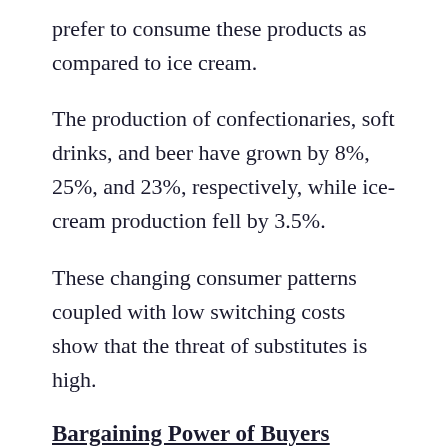prefer to consume these products as compared to ice cream.
The production of confectionaries, soft drinks, and beer have grown by 8%, 25%, and 23%, respectively, while ice-cream production fell by 3.5%.
These changing consumer patterns coupled with low switching costs show that the threat of substitutes is high.
Bargaining Power of Buyers
The bargaining power of buyers...